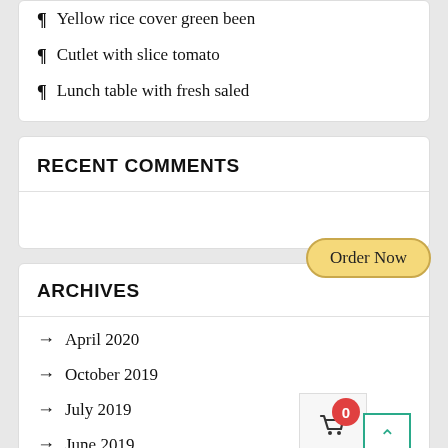Yellow rice cover green been
Cutlet with slice tomato
Lunch table with fresh saled
RECENT COMMENTS
ARCHIVES
April 2020
October 2019
July 2019
June 2019